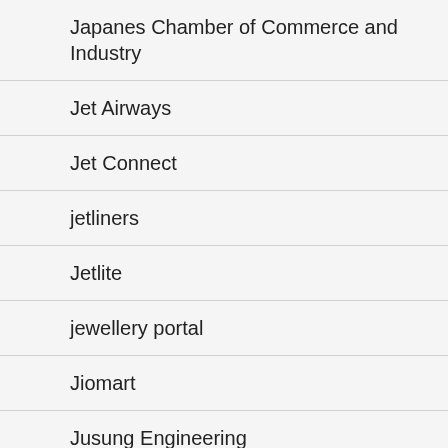Japanes Chamber of Commerce and Industry
Jet Airways
Jet Connect
jetliners
Jetlite
jewellery portal
Jiomart
Jusung Engineering